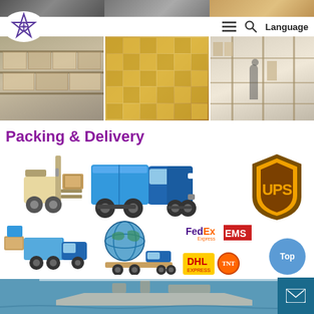[Figure (photo): Website header with star logo, hamburger menu, search icon, and Language button; top strip shows product handling photos]
[Figure (photo): Three warehouse/storage room photos showing shelves filled with packaged boxes]
Packing & Delivery
[Figure (photo): Delivery illustration showing forklift loading a blue delivery truck, UPS logo, smaller truck with boxes, globe on flatbed truck, FedEx Express, EMS, DHL Express, and TNT courier logos]
[Figure (photo): Bottom strip showing a sea freight ship on water]